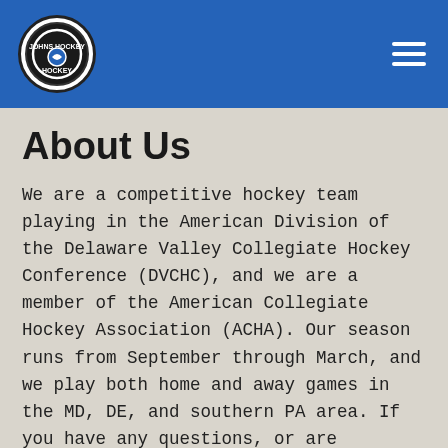Johns Hockey Hockey [logo] [hamburger menu]
About Us
We are a competitive hockey team playing in the American Division of the Delaware Valley Collegiate Hockey Conference (DVCHC), and we are a member of the American Collegiate Hockey Association (ACHA). Our season runs from September through March, and we play both home and away games in the MD, DE, and southern PA area. If you have any questions, or are interested in playing, please contact us!
Prospective Students